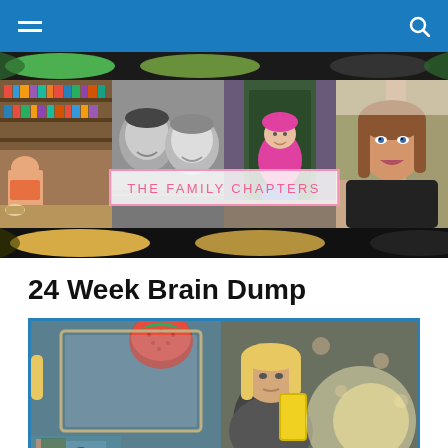Navigation bar with hamburger menu and search icon
[Figure (photo): Blog header banner with collage of family photos and 'THE FAMILY CHAPTERS' title overlay. Four photos: child in library, black-and-white couple selfie, toddler in pink jacket, woman smiling selfie.]
24 Week Brain Dump
[Figure (photo): Photo of a pregnant woman taking a mirror selfie with a yellow phone, wearing a dark shirt. Background shows a room with floral wallpaper and a red strawberry decoration.]